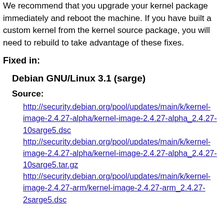We recommend that you upgrade your kernel package immediately and reboot the machine. If you have built a custom kernel from the kernel source package, you will need to rebuild to take advantage of these fixes.
Fixed in:
Debian GNU/Linux 3.1 (sarge)
Source:
http://security.debian.org/pool/updates/main/k/kernel-image-2.4.27-alpha/kernel-image-2.4.27-alpha_2.4.27-10sarge5.dsc
http://security.debian.org/pool/updates/main/k/kernel-image-2.4.27-alpha/kernel-image-2.4.27-alpha_2.4.27-10sarge5.tar.gz
http://security.debian.org/pool/updates/main/k/kernel-image-2.4.27-arm/kernel-image-2.4.27-arm_2.4.27-2sarge5.dsc